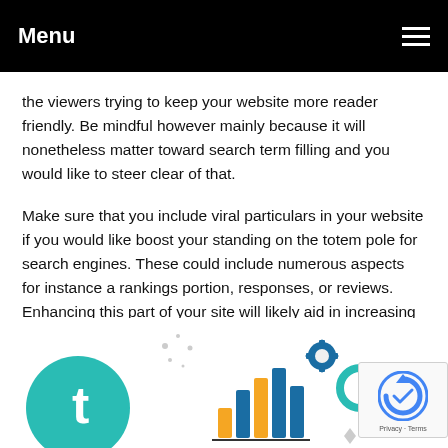Menu
the viewers trying to keep your website more reader friendly. Be mindful however mainly because it will nonetheless matter toward search term filling and you would like to steer clear of that.
Make sure that you include viral particulars in your website if you would like boost your standing on the totem pole for search engines. These could include numerous aspects for instance a rankings portion, responses, or reviews. Enhancing this part of your site will likely aid in increasing business and presence.
[Figure (infographic): SEO-related infographic illustration showing colorful icons including a teal search icon with letter 't', bar charts in orange and blue, a gear icon, a teal circle ring, an orange dot, and diamond shapes on a white background.]